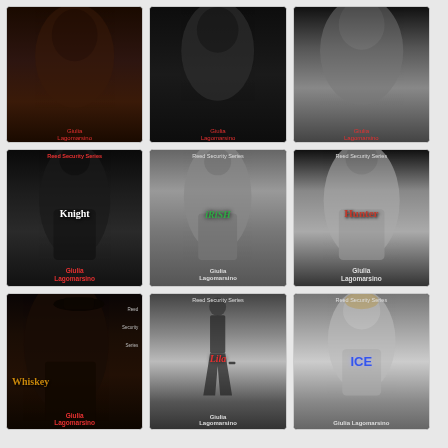[Figure (other): Book cover for Reed Security Series by Giulia Lagomarsino - partially visible top row]
[Figure (other): Book cover for Reed Security Series by Giulia Lagomarsino - partially visible top row center]
[Figure (other): Book cover for Reed Security Series by Giulia Lagomarsino - partially visible top row right]
[Figure (other): Book cover: Knight - Reed Security Series by Giulia Lagomarsino]
[Figure (other): Book cover: Irish - Reed Security Series by Giulia Lagomarsino]
[Figure (other): Book cover: Hunter - Reed Security Series by Giulia Lagomarsino]
[Figure (other): Book cover: Whiskey - Reed Security Series by Giulia Lagomarsino]
[Figure (other): Book cover: Lila - Reed Security Series by Giulia Lagomarsino]
[Figure (other): Book cover: ICE - Reed Security Series by Giulia Lagomarsino]